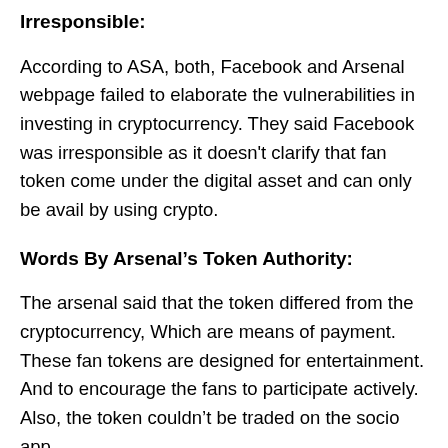Irresponsible:
According to ASA, both, Facebook and Arsenal webpage failed to elaborate the vulnerabilities in investing in cryptocurrency. They said Facebook was irresponsible as it doesn't clarify that fan token come under the digital asset and can only be avail by using crypto.
Words By Arsenal’s Token Authority:
The arsenal said that the token differed from the cryptocurrency, Which are means of payment. These fan tokens are designed for entertainment. And to encourage the fans to participate actively. Also, the token couldn’t be traded on the socio app